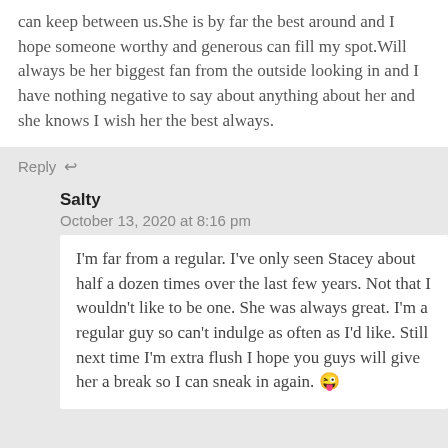can keep between us.She is by far the best around and I hope someone worthy and generous can fill my spot.Will always be her biggest fan from the outside looking in and I have nothing negative to say about anything about her and she knows I wish her the best always.
Reply
Salty
October 13, 2020 at 8:16 pm
I'm far from a regular. I've only seen Stacey about half a dozen times over the last few years. Not that I wouldn't like to be one. She was always great. I'm a regular guy so can't indulge as often as I'd like. Still next time I'm extra flush I hope you guys will give her a break so I can sneak in again. 😜